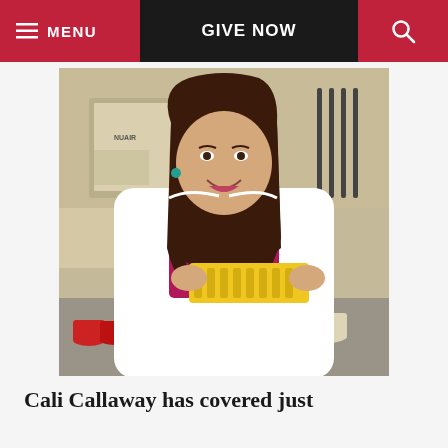MENU   GIVE NOW   🔍
[Figure (photo): A young woman with long brown hair, wearing a white lab coat over a magenta top and teal earrings, smiling and holding a yellow sample tray in a laboratory setting. Lab equipment including pipettes and bottles are visible in the background.]
Cali Callaway has covered just